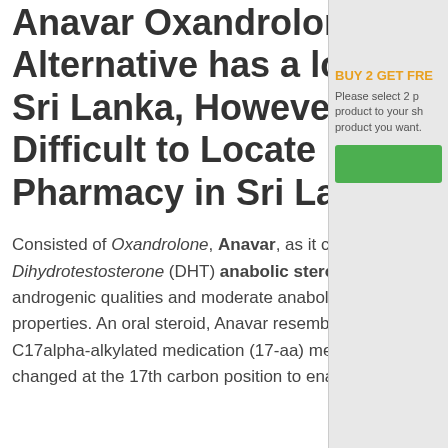Anavar Oxandrolone Alternative has a lot of fans in Sri Lanka, However it is Very Difficult to Locate in Local Pharmacy in Sri Lanka
Consisted of Oxandrolone, Anavar, as it commonly understood, is a Dihydrotestosterone (DHT) anabolic steroid with almost no androgenic qualities and moderate anabolic residential or commercial properties. As an oral steroid, Anavar resembles a lot of oral steroids a C17alpha-alkylated medication (17-aa) meaning it has actually been changed at the 17th carbon position to enable it to make it through
BUY 2 GET FREE
Please select 2 products to your shopping cart and the product you want.